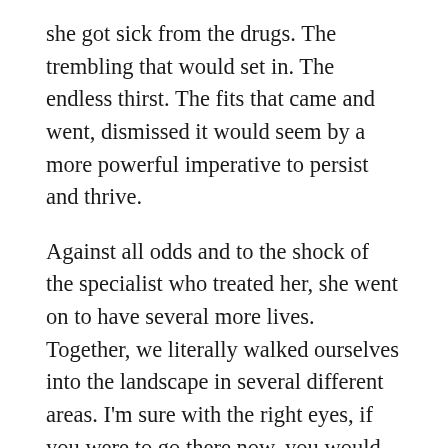she got sick from the drugs. The trembling that would set in. The endless thirst. The fits that came and went, dismissed it would seem by a more powerful imperative to persist and thrive.
Against all odds and to the shock of the specialist who treated her, she went on to have several more lives. Together, we literally walked ourselves into the landscape in several different areas. I'm sure with the right eyes, if you were to go there now, you would still see us...part of the rocks and the trees. A golden-red dingo blending in with the sandstone, and me following behind.